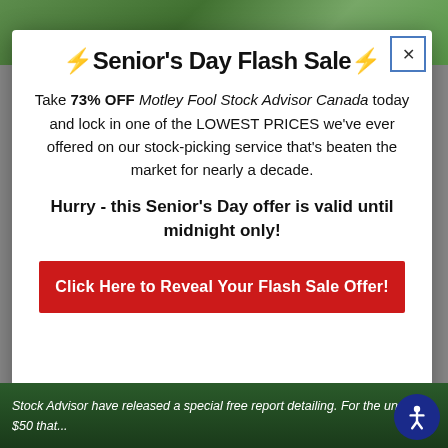⚡Senior's Day Flash Sale⚡
Take 73% OFF Motley Fool Stock Advisor Canada today and lock in one of the LOWEST PRICES we've ever offered on our stock-picking service that's beaten the market for nearly a decade.
Hurry - this Senior's Day offer is valid until midnight only!
[Figure (other): Red call-to-action button reading: Click Here to Reveal Your Flash Sale Offer!]
Stock Advisor have released a special free report detailing. For the under $50 that...